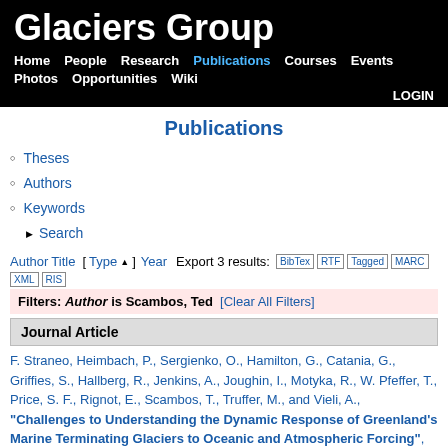Glaciers Group
Home  People  Research  Publications  Courses  Events  Photos  Opportunities  Wiki  LOGIN
Publications
Theses
Authors
Keywords
Search
Author Title [ Type ▲ ] Year  Export 3 results:  BibTex  RTF  Tagged  MARC  XML  RIS
Filters: Author is Scambos, Ted  [Clear All Filters]
Journal Article
F. Straneo, Heimbach, P., Sergienko, O., Hamilton, G., Catania, G., Griffies, S., Hallberg, R., Jenkins, A., Joughin, I., Motyka, R., W. Pfeffer, T., Price, S. F., Rignot, E., Scambos, T., Truffer, M., and Vieli, A., "Challenges to Understanding the Dynamic Response of Greenland's Marine Terminating Glaciers to Oceanic and Atmospheric Forcing", Bulletin of